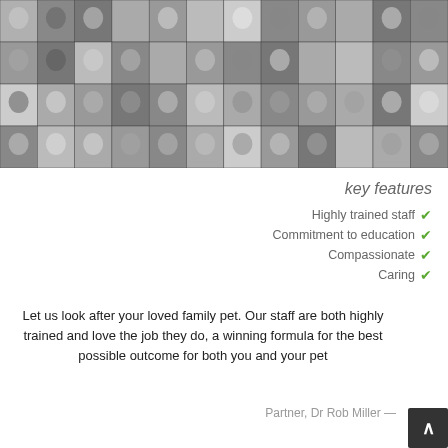[Figure (photo): A collage/grid of black and white portrait photos of many different people, arranged in 4 rows of approximately 12 columns each, covering the top portion of the page.]
key features
Highly trained staff ✔
Commitment to education ✔
Compassionate ✔
Caring ✔
Let us look after your loved family pet. Our staff are both highly trained and love the job they do, a winning formula for the best possible outcome for both you and your pet
Partner, Dr Rob Miller —